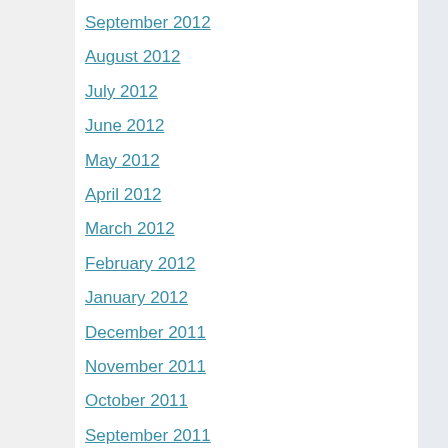September 2012
August 2012
July 2012
June 2012
May 2012
April 2012
March 2012
February 2012
January 2012
December 2011
November 2011
October 2011
September 2011
August 2011
July 2011
June 2011